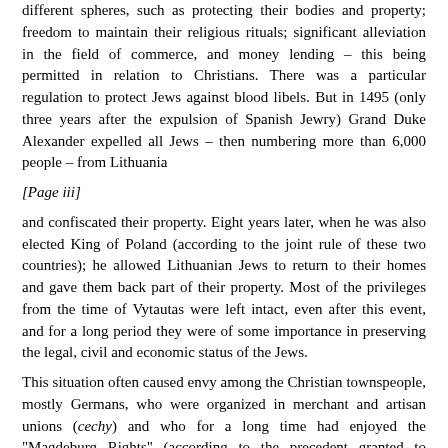different spheres, such as protecting their bodies and property; freedom to maintain their religious rituals; significant alleviation in the field of commerce, and money lending – this being permitted in relation to Christians. There was a particular regulation to protect Jews against blood libels. But in 1495 (only three years after the expulsion of Spanish Jewry) Grand Duke Alexander expelled all Jews – then numbering more than 6,000 people – from Lithuania
[Page iii]
and confiscated their property. Eight years later, when he was also elected King of Poland (according to the joint rule of these two countries); he allowed Lithuanian Jews to return to their homes and gave them back part of their property. Most of the privileges from the time of Vytautas were left intact, even after this event, and for a long period they were of some importance in preserving the legal, civil and economic status of the Jews.
This situation often caused envy among the Christian townspeople, mostly Germans, who were organized in merchant and artisan unions (cechy) and who for a long time had enjoyed the "Magdeburg Rights" (according to the precedent granted to merchants in the town of Magdeburg in Germany) and now perceived the Jews as competitors who had to be fought. For example they managed to cause an edict to be proclaimed (De non tolerandis Judaeis) according to which it was forbidden for Jews to